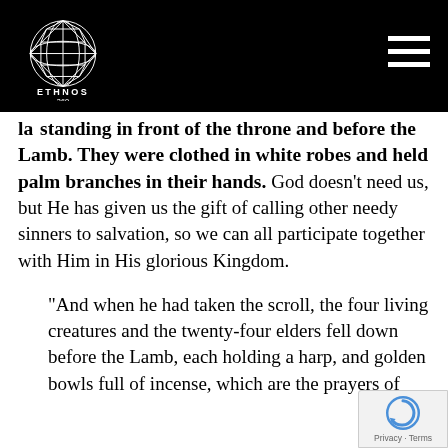[Figure (logo): Ethnos360 logo: geometric globe/diamond wireframe shape above text ETHNOS 360, on black background header bar with hamburger menu icon on right]
la…standing in front of the throne and before the Lamb. They were clothed in white robes and held palm branches in their hands. God doesn't need us, but He has given us the gift of calling other needy sinners to salvation, so we can all participate together with Him in His glorious Kingdom.
“And when he had taken the scroll, the four living creatures and the twenty-four elders fell down before the Lamb, each holding a harp, and golden bowls full of incense, which are the prayers of